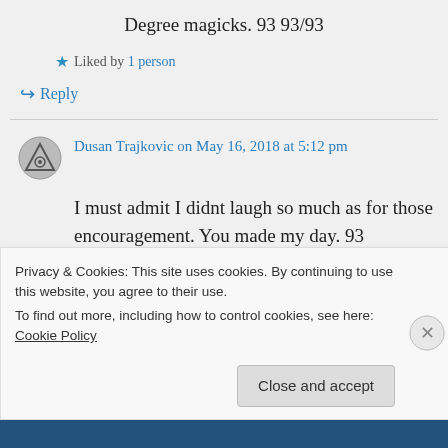Degree magicks. 93 93/93
★ Liked by 1 person
↪ Reply
Dusan Trajkovic on May 16, 2018 at 5:12 pm
I must admit I didnt laugh so much as for those encouragement. You made my day. 93
Privacy & Cookies: This site uses cookies. By continuing to use this website, you agree to their use.
To find out more, including how to control cookies, see here: Cookie Policy
Close and accept